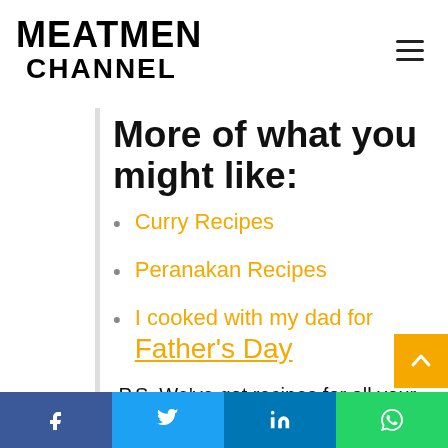MEATMEN CHANNEL
More of what you might like:
Curry Recipes
Peranakan Recipes
I cooked with my dad for Father's Day
P.S. We've got recipes for all your Singaporean and Asian favourites on our Youtube channel. Subscribe
f  Twitter  in  WhatsApp